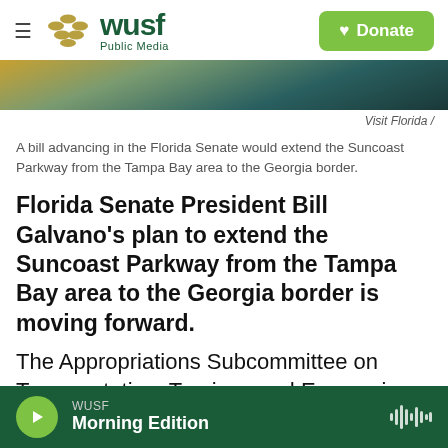WUSF Public Media — Donate
[Figure (photo): Partial photo showing a road or parkway scene, cropped at top]
Visit Florida /
A bill advancing in the Florida Senate would extend the Suncoast Parkway from the Tampa Bay area to the Georgia border.
Florida Senate President Bill Galvano's plan to extend the Suncoast Parkway from the Tampa Bay area to the Georgia border is moving forward.
The Appropriations Subcommittee on Transportation, Tourism, and Economic Development approved an amended bill (SB 7068) Tuesday that takes the environmental effects of
WUSF — Morning Edition